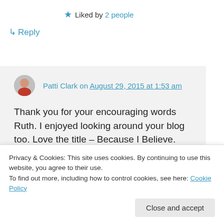★ Liked by 2 people
↳ Reply
Patti Clark on August 29, 2015 at 1:53 am
Thank you for your encouraging words Ruth. I enjoyed looking around your blog too. Love the title – Because I Believe. We found each other – Win/Win!
★ Liked by 1 person
Privacy & Cookies: This site uses cookies. By continuing to use this website, you agree to their use. To find out more, including how to control cookies, see here: Cookie Policy
Close and accept
am